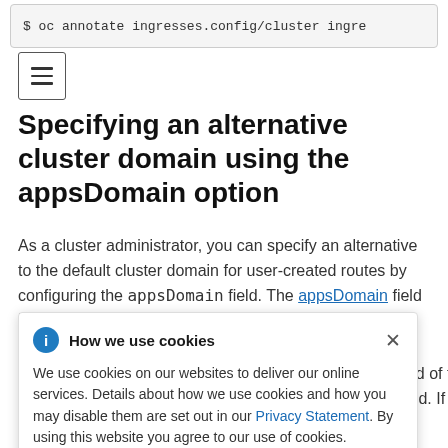[Figure (screenshot): Code block showing: $ oc annotate ingresses.config/cluster ingre...]
[Figure (other): Hamburger menu icon (three horizontal lines in a bordered square)]
Specifying an alternative cluster domain using the appsDomain option
As a cluster administrator, you can specify an alternative to the default cluster domain for user-created routes by configuring the appsDomain field. The appsDomain field is an optional domain for ... ead of the ... field. If you ... the default ... ning the
How we use cookies (cookie banner overlay): We use cookies on our websites to deliver our online services. Details about how we use cookies and how you may disable them are set out in our Privacy Statement. By using this website you agree to our use of cookies.
... for your company as the default domain for routes and